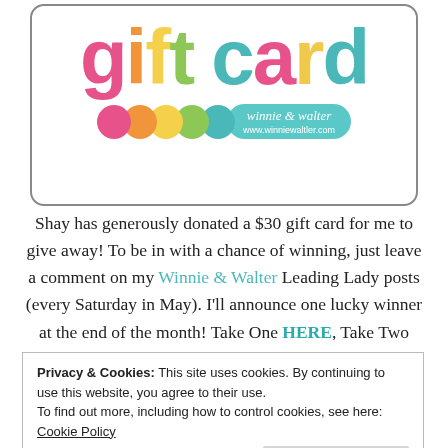[Figure (illustration): Gift card image showing colorful 'gift card' text in pink, orange, yellow, green, teal letters, with Winnie & Walter logo (colorful circles and teal pill-shaped logo) and website www.winniewaltler.com]
Shay has generously donated a $30 gift card for me to give away! To be in with a chance of winning, just leave a comment on my Winnie & Walter Leading Lady posts (every Saturday in May). I'll announce one lucky winner at the end of the month! Take One HERE, Take Two HERE.
Privacy & Cookies: This site uses cookies. By continuing to use this website, you agree to their use.
To find out more, including how to control cookies, see here: Cookie Policy
Close and accept
Windie & Wolter S...